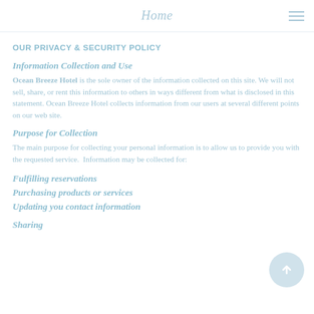Home
OUR PRIVACY & SECURITY POLICY
Information Collection and Use
Ocean Breeze Hotel is the sole owner of the information collected on this site. We will not sell, share, or rent this information to others in ways different from what is disclosed in this statement. Ocean Breeze Hotel collects information from our users at several different points on our web site.
Purpose for Collection
The main purpose for collecting your personal information is to allow us to provide you with the requested service. Information may be collected for:
Fulfilling reservations
Purchasing products or services
Updating you contact information
Sharing